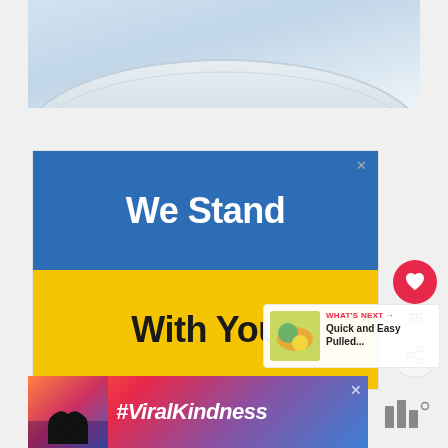[Figure (photo): Close-up photo of a white bowl or plate against a light blue/white background, showing a curved rim shape]
[Figure (infographic): Advertisement banner with blue top half reading 'We Stand' in white bold text and yellow bottom half reading 'With You' in black bold text, with an X close button in top right]
75
WHAT'S NEXT → Quick and Easy Pulled...
[Figure (infographic): Advertisement banner with colorful sunset background, silhouette of hands forming a heart shape, text '#ViralKindness' in white italic, with an X close button]